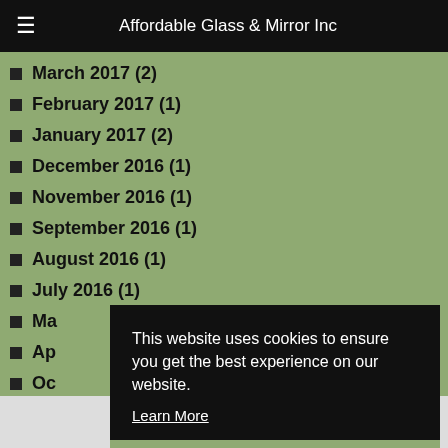Affordable Glass & Mirror Inc
March 2017 (2)
February 2017 (1)
January 2017 (2)
December 2016 (1)
November 2016 (1)
September 2016 (1)
August 2016 (1)
July 2016 (1)
Ma…
Ap…
Oc…
Au…
Ju…
This website uses cookies to ensure you get the best experience on our website. Learn More
Got it!
Get More Info!